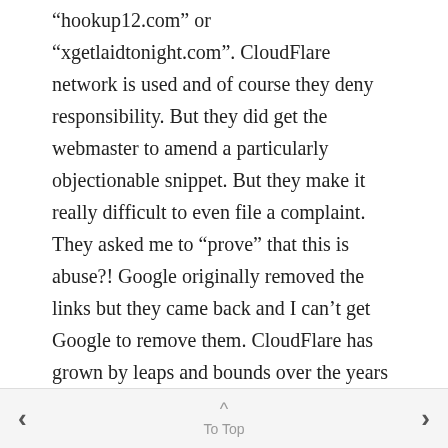“hookup12.com” or “xgetlaidtonight.com”. CloudFlare network is used and of course they deny responsibility. But they did get the webmaster to amend a particularly objectionable snippet. But they make it really difficult to even file a complaint. They asked me to “prove” that this is abuse?! Google originally removed the links but they came back and I can’t get Google to remove them. CloudFlare has grown by leaps and bounds over the years and there is no doubt in my mind that shielding scumbag webmasters is one reason for their success. The word is out
< To Top >